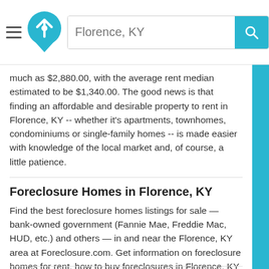[Figure (screenshot): Website header with hamburger menu icon, home/location logo in teal, search bar with 'Florence, KY' placeholder text, and a teal search button with magnifying glass icon]
much as $2,880.00, with the average rent median estimated to be $1,340.00. The good news is that finding an affordable and desirable property to rent in Florence, KY -- whether it's apartments, townhomes, condominiums or single-family homes -- is made easier with knowledge of the local market and, of course, a little patience.
Foreclosure Homes in Florence, KY
Find the best foreclosure homes listings for sale — bank-owned government (Fannie Mae, Freddie Mac, HUD, etc.) and others — in and near the Florence, KY area at Foreclosure.com. Get information on foreclosure homes for rent, how to buy foreclosures in Florence, KY and much more. Save thousands at closing with home foreclosure listings in Florence, KY — up to 75% off market value!